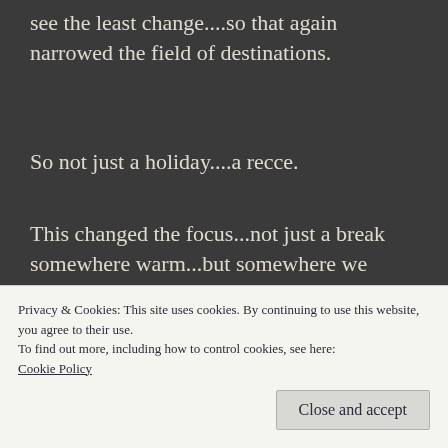see the least change....so that again narrowed the field of destinations.
So not just a holiday....a recce.
This changed the focus...not just a break somewhere warm...but somewhere we might
Privacy & Cookies: This site uses cookies. By continuing to use this website, you agree to their use.
To find out more, including how to control cookies, see here: Cookie Policy
Close and accept